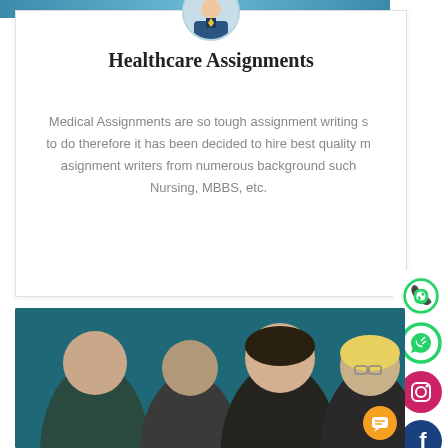[Figure (photo): Top banner with teal/blue background image partially visible]
[Figure (illustration): Avatar/profile photo of a person in suit inside a circular frame]
Healthcare Assignments
Medical Assignments are so tough assignment writing s to do therefore it has been decided to hire best quality m asignment writers from numerous background such Nursing, MBBS, etc.
[Figure (illustration): Social media sidebar icons: WhatsApp (green), Instagram (red), Facebook (dark blue), Twitter (blue bird), LinkedIn (blue in)]
[Figure (photo): Group photo of diverse young professionals/students against a teal background, with orange chat bubble icon in lower right]